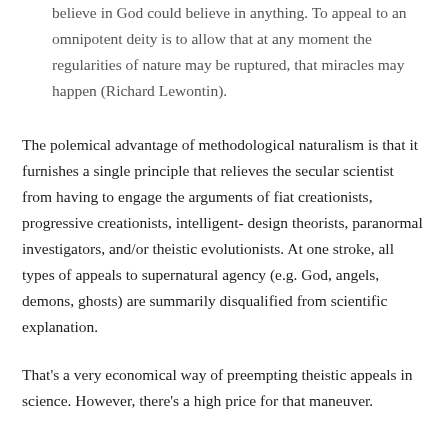believe in God could believe in anything. To appeal to an omnipotent deity is to allow that at any moment the regularities of nature may be ruptured, that miracles may happen (Richard Lewontin).
The polemical advantage of methodological naturalism is that it furnishes a single principle that relieves the secular scientist from having to engage the arguments of fiat creationists, progressive creationists, intelligent-design theorists, paranormal investigators, and/or theistic evolutionists. At one stroke, all types of appeals to supernatural agency (e.g. God, angels, demons, ghosts) are summarily disqualified from scientific explanation.
That's a very economical way of preempting theistic appeals in science. However, there's a high price for that maneuver.